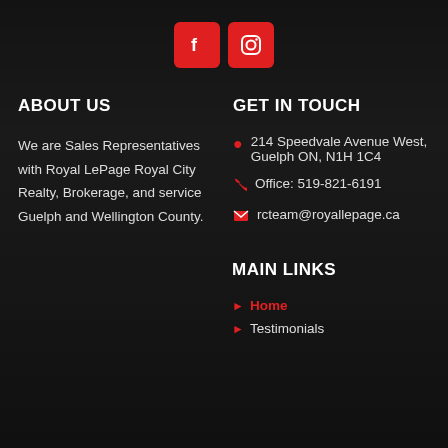[Figure (logo): Two red square social media icons: Facebook (f) and Instagram (camera icon)]
ABOUT US
We are Sales Representatives with Royal LePage Royal City Realty, Brokerage, and service Guelph and Wellington County.
GET IN TOUCH
214 Speedvale Avenue West, Guelph ON, N1H 1C4
Office: 519-821-6191
rcteam@royallepage.ca
MAIN LINKS
Home
Testimonials